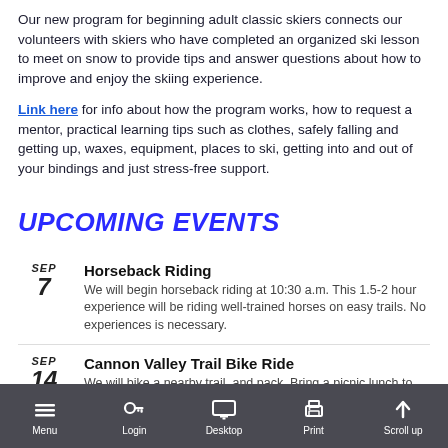Our new program for beginning adult classic skiers connects our volunteers with skiers who have completed an organized ski lesson to meet on snow to provide tips and answer questions about how to improve and enjoy the skiing experience.
Link here for info about how the program works, how to request a mentor, practical learning tips such as clothes, safely falling and getting up, waxes, equipment, places to ski, getting into and out of your bindings and just stress-free support.
UPCOMING EVENTS
SEP 7 - Horseback Riding: We will begin horseback riding at 10:30 a.m. This 1.5-2 hour experience will be riding well-trained horses on easy trails. No experiences is necessary.
SEP 14 - Cannon Valley Trail Bike Ride: We will bike a nearby trail, and pack. Bring a picnic lunch to eat when we pause on the trail ahead at Welch.